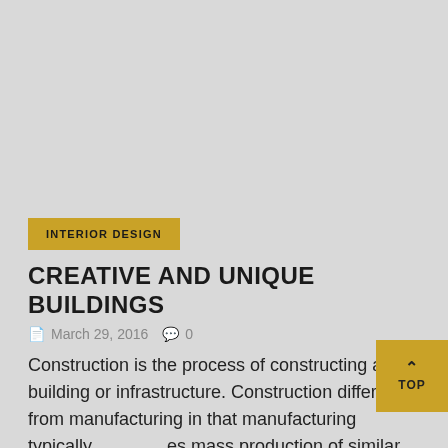[Figure (photo): Gray placeholder image area at top of page]
INTERIOR DESIGN
CREATIVE AND UNIQUE BUILDINGS
📄 March 29, 2016  💬 0
Construction is the process of constructing a building or infrastructure. Construction differs from manufacturing in that manufacturing typically involves mass production of similar items without a designated